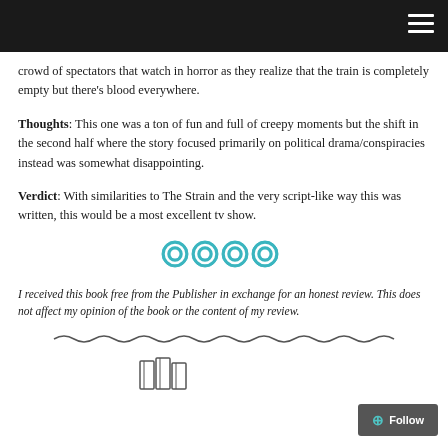crowd of spectators that watch in horror as they realize that the train is completely empty but there's blood everywhere.
Thoughts: This one was a ton of fun and full of creepy moments but the shift in the second half where the story focused primarily on political drama/conspiracies instead was somewhat disappointing.
Verdict: With similarities to The Strain and the very script-like way this was written, this would be a most excellent tv show.
[Figure (other): Four teal/cyan circle rating icons in a row]
I received this book free from the Publisher in exchange for an honest review. This does not affect my opinion of the book or the content of my review.
[Figure (illustration): Decorative wavy line divider]
[Figure (illustration): Stack of books icon at bottom left]